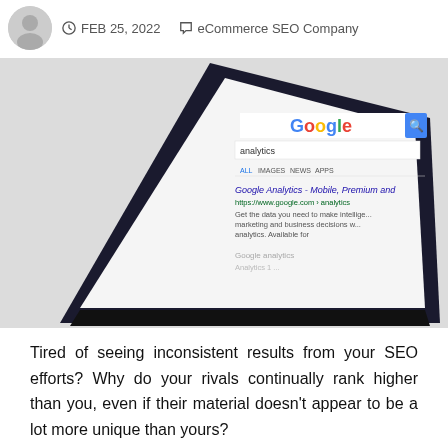FEB 25, 2022 | eCommerce SEO Company
[Figure (photo): A smartphone displaying Google search results for 'analytics' showing Google Analytics – Mobile, Premium and more result, photographed at an angle on a light background.]
Tired of seeing inconsistent results from your SEO efforts? Why do your rivals continually rank higher than you, even if their material doesn't appear to be a lot more unique than yours?